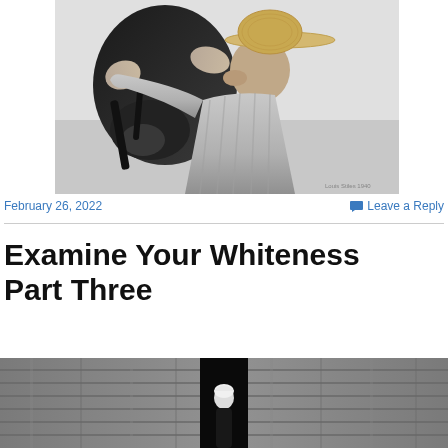[Figure (photo): Black and white photograph of a person wearing a straw hat kissing or nuzzling a dark horse, holding the horse's face with both hands. A small watermark/credit is visible in the lower right corner.]
February 26, 2022
Leave a Reply
Examine Your Whiteness Part Three
[Figure (photo): Black and white photograph showing a person inside a dark barn doorway, with wooden barn siding visible on both sides.]